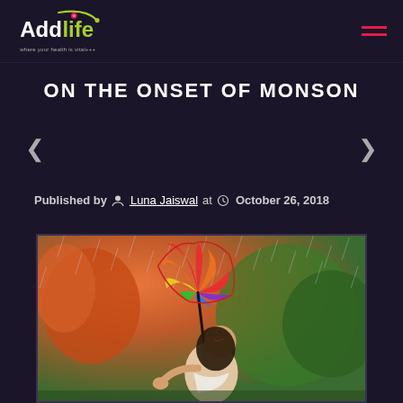Addlife — where your health is vital+++
ON THE ONSET OF MONSON
Published by Luna Jaiswal at October 26, 2018
[Figure (photo): A woman smiling and enjoying monsoon rain while holding a colorful rainbow umbrella, with autumn trees in the background.]